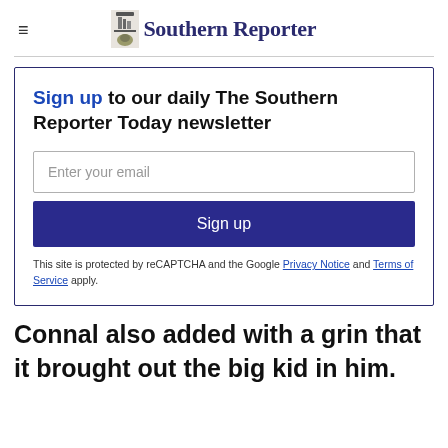Southern Reporter
Sign up to our daily The Southern Reporter Today newsletter
Enter your email
Sign up
This site is protected by reCAPTCHA and the Google Privacy Notice and Terms of Service apply.
Connal also added with a grin that it brought out the big kid in him.